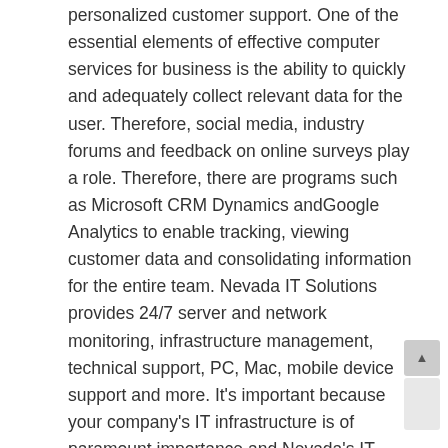personalized customer support. One of the essential elements of effective computer services for business is the ability to quickly and adequately collect relevant data for the user. Therefore, social media, industry forums and feedback on online surveys play a role. Therefore, there are programs such as Microsoft CRM Dynamics andGoogle Analytics to enable tracking, viewing customer data and consolidating information for the entire team. Nevada IT Solutions provides 24/7 server and network monitoring, infrastructure management, technical support, PC, Mac, mobile device support and more. It's important because your company's IT infrastructure is of paramount importance and Nevada's IT solutions can make you even better.